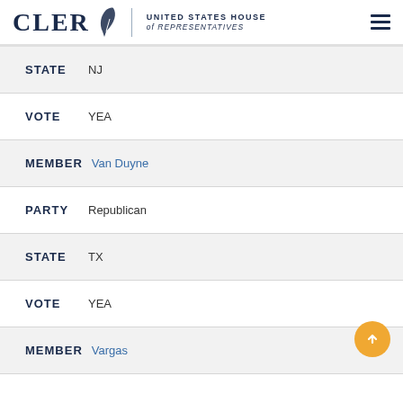CLERK United States House of Representatives
STATE NJ
VOTE YEA
MEMBER Van Duyne
PARTY Republican
STATE TX
VOTE YEA
MEMBER Vargas